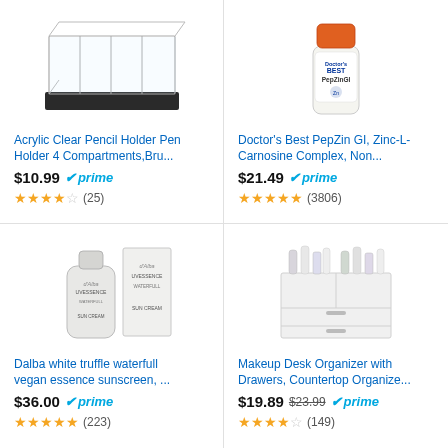[Figure (photo): Acrylic clear pencil holder with 4 compartments on black base]
Acrylic Clear Pencil Holder Pen Holder 4 Compartments,Bru...
$10.99 prime
3.5 stars (25)
[Figure (photo): Doctor's Best PepZin GI supplement bottle]
Doctor's Best PepZin GI, Zinc-L-Carnosine Complex, Non...
$21.49 prime
4.5 stars (3806)
[Figure (photo): d'Alba UV essence sunscreen tube and box]
Dalba white truffle waterfull vegan essence sunscreen, ...
$36.00 prime
5 stars (223)
[Figure (photo): White makeup desk organizer with drawers and cosmetic products]
Makeup Desk Organizer with Drawers, Countertop Organize...
$19.89 $23.99 prime
3.5 stars (149)